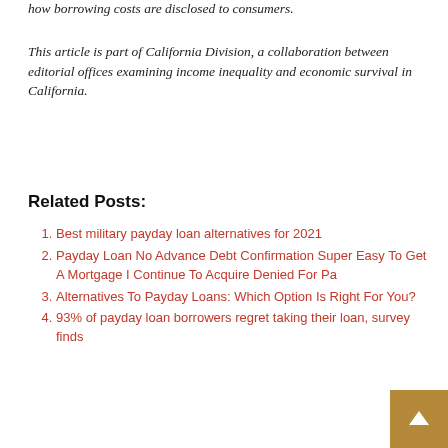how borrowing costs are disclosed to consumers.
This article is part of California Division, a collaboration between editorial offices examining income inequality and economic survival in California.
Related Posts:
Best military payday loan alternatives for 2021
Payday Loan No Advance Debt Confirmation Super Easy To Get A Mortgage I Continue To Acquire Denied For Pa
Alternatives To Payday Loans: Which Option Is Right For You?
93% of payday loan borrowers regret taking their loan, survey finds